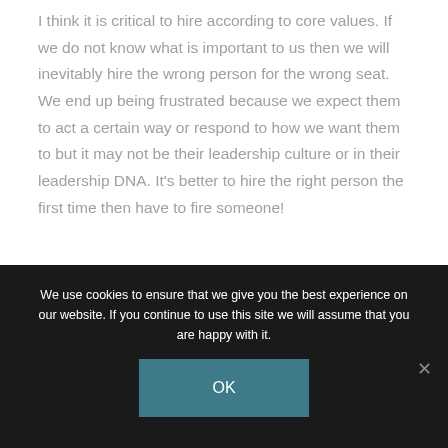I think it is critical to hire according to core values. If we do not know what is important to us then we will inevitably hire the wrong person for the wrong seat. We end up being frustrated because we expect them to act a certain way or respond to how we want them to but it may not be their leadership culture or in their leadership DNA. It's better to hire the right person the first time then have to fire someone!
We use cookies to ensure that we give you the best experience on our website. If you continue to use this site we will assume that you are happy with it.